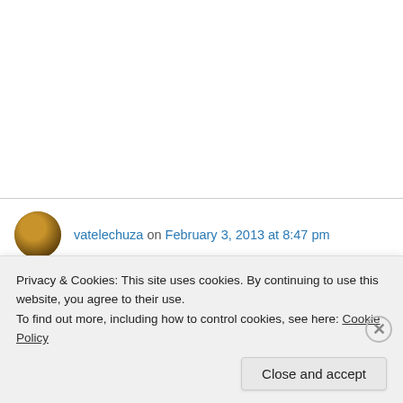vatelechuza on February 3, 2013 at 8:47 pm
Magnificos!!! Alegria y complicidd!!! Bravo!!
↳ Reply
greenmackenzie on February 4, 2013 at 11:01
Privacy & Cookies: This site uses cookies. By continuing to use this website, you agree to their use.
To find out more, including how to control cookies, see here: Cookie Policy
Close and accept